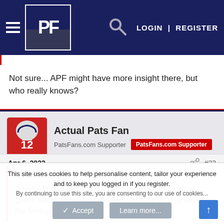[Figure (screenshot): PatsFans.com website header with logo PF, hamburger menu, search icon, LOGIN | REGISTER navigation links on dark navy background]
Not sure... APF might have more insight there, but who really knows?
[Figure (photo): Avatar of user Actual Pats Fan showing a football player in red jersey number 12]
Actual Pats Fan
PatsFans.com Supporter  [PatsFans.com Supporter badge]
Apr 6, 2022  #23
Kasmir said: ↑
Which of those effers black listed Houston Antwine? My guess would be McDonough and Montville as they were the football beat guys IIRC
This site uses cookies to help personalise content, tailor your experience and to keep you logged in if you register.
By continuing to use this site, you are consenting to our use of cookies...